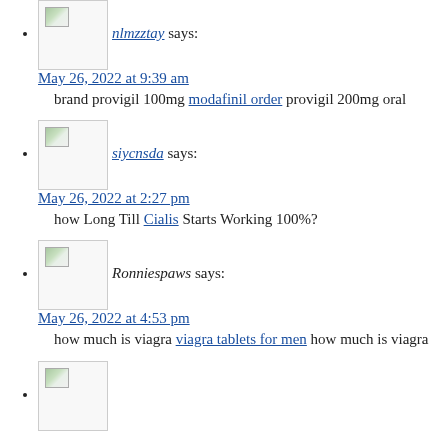nlmzztay says: May 26, 2022 at 9:39 am
brand provigil 100mg modafinil order provigil 200mg oral
siycnsda says: May 26, 2022 at 2:27 pm
how Long Till Cialis Starts Working 100%?
Ronniespaws says: May 26, 2022 at 4:53 pm
how much is viagra viagra tablets for men how much is viagra
(avatar placeholder)